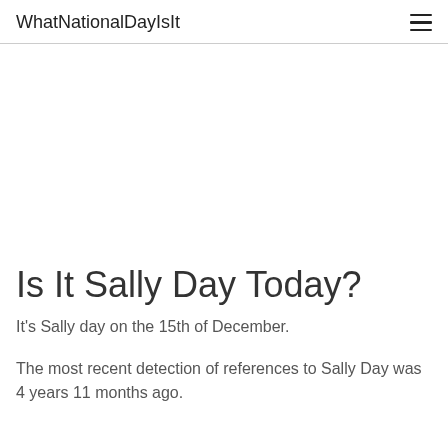WhatNationalDayIsIt
Is It Sally Day Today?
It's Sally day on the 15th of December.
The most recent detection of references to Sally Day was 4 years 11 months ago.